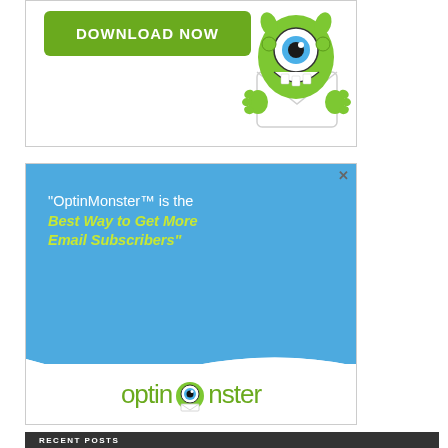[Figure (illustration): Top advertisement box with green 'DOWNLOAD NOW' button and a green one-eyed monster cartoon character peeking over an envelope]
[Figure (illustration): OptinMonster advertisement with blue background. Text: '"OptinMonster™ is the Best Way to Get More Email Subscribers"' with the optinmonster logo and monster icon at the bottom. Has a close (X) button in the top right.]
RECENT POSTS